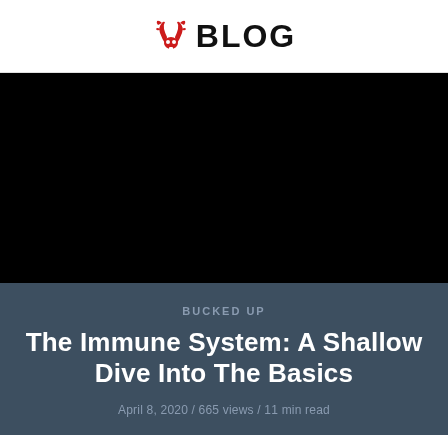BLOG
[Figure (photo): Black hero image background for blog post]
BUCKED UP
The Immune System: A Shallow Dive Into The Basics
April 8, 2020 / 665 views / 11 min read